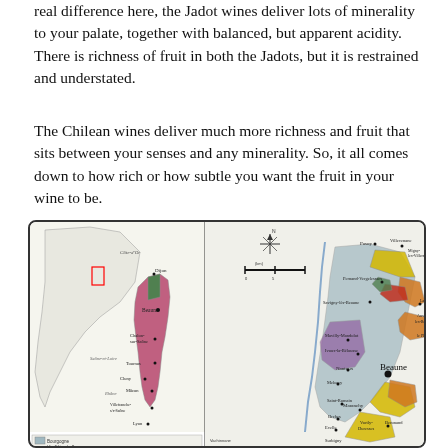real difference here, the Jadot wines deliver lots of minerality to your palate, together with balanced, but apparent acidity. There is richness of fruit in both the Jadots, but it is restrained and understated.
The Chilean wines deliver much more richness and fruit that sits between your senses and any minerality. So, it all comes down to how rich or how subtle you want the fruit in your wine to be.
[Figure (map): Map of Burgundy wine regions of France showing two panels: left panel shows a regional overview of Burgundy with colored zones (Côte-d'Or, Saône-et-Loire, Rhône areas) with cities including Dijon, Beaune, Chalon-sur-Saône, Tournus, Cluny, Mâcon, Villefranche-sur-Saône, Lyon; right panel shows a detailed map of the Côte de Beaune area with colored appellations (grey, yellow, orange, purple, green, red) and towns including Pernand-Vergelessses, Savigny-lès-Beaune, Beaune, Nantoux, and others. A legend is partially visible at the bottom.]